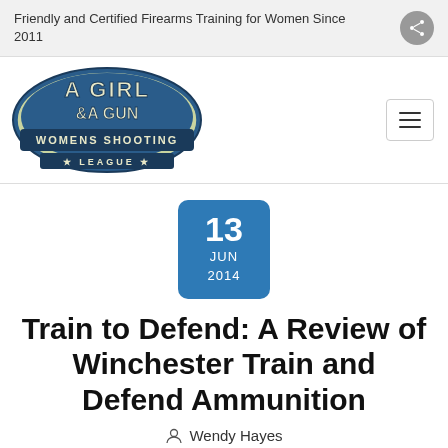Friendly and Certified Firearms Training for Women Since 2011
[Figure (logo): A Girl & A Gun Womens Shooting League logo — blue and green shield-style badge with stylized western font]
13 JUN 2014
Train to Defend: A Review of Winchester Train and Defend Ammunition
Wendy Hayes